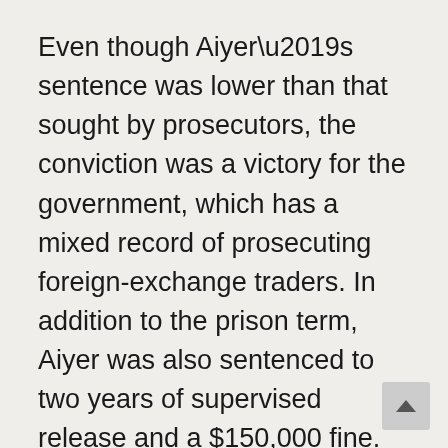Even though Aiyer’s sentence was lower than that sought by prosecutors, the conviction was a victory for the government, which has a mixed record of prosecuting foreign-exchange traders. In addition to the prison term, Aiyer was also sentenced to two years of supervised release and a $150,000 fine.
Aiyer, a native of India who worked at JPMorgan from 2006 until he was fired in 2015, had requested that the judge sentence him to a term of probation with a period of home confinement. His lawyers argued that he had no criminal history and was convicted of a crime in connection with